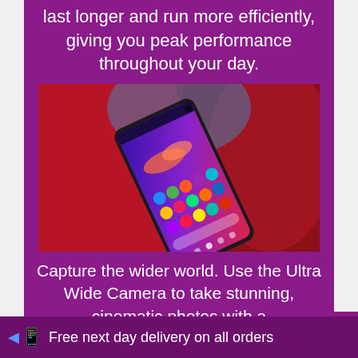last longer and run more efficiently, giving you peak performance throughout your day.
[Figure (photo): Samsung Galaxy S10 smartphone displayed at an angle against a dramatic red curved background, showing the home screen with colorful app icons on a purple wallpaper]
Capture the wider world. Use the Ultra Wide Camera to take stunning, cinematic photos with a
Free next day delivery on all orders